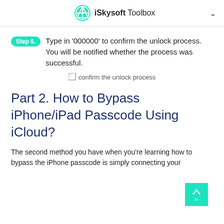iSkysoft Toolbox
Step 6.  Type in '000000' to confirm the unlock process. You will be notified whether the process was successful.
[Figure (photo): Broken image placeholder for 'confirm the unlock process']
Part 2. How to Bypass iPhone/iPad Passcode Using iCloud?
The second method you have when you're learning how to bypass the iPhone passcode is simply connecting your